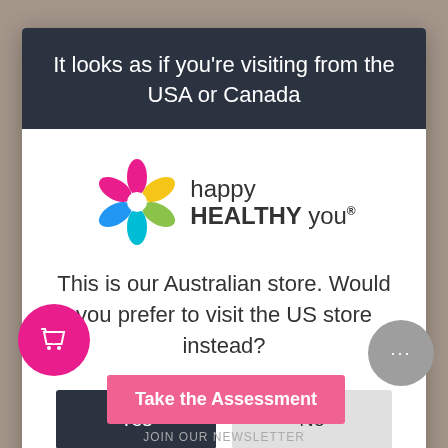It looks as if you're visiting from the USA or Canada
[Figure (logo): Happy Healthy You logo with multicolored flower petals and brand name]
This is our Australian store. Would you prefer to visit the US store instead?
Yes
No
Take the Assessment
JOIN OUR NEWSLETTER